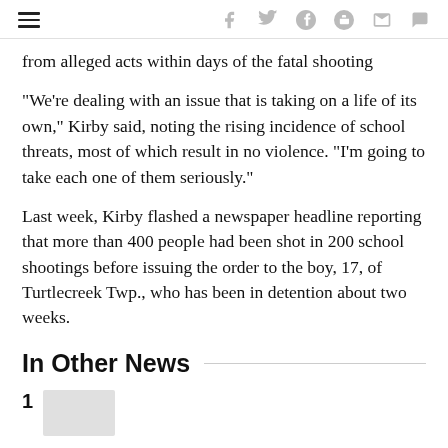≡  f  🐦  p  reddit  ✉  💬
from alleged acts within days of the fatal shooting
"We're dealing with an issue that is taking on a life of its own," Kirby said, noting the rising incidence of school threats, most of which result in no violence. "I'm going to take each one of them seriously."
Last week, Kirby flashed a newspaper headline reporting that more than 400 people had been shot in 200 school shootings before issuing the order to the boy, 17, of Turtlecreek Twp., who has been in detention about two weeks.
In Other News
1